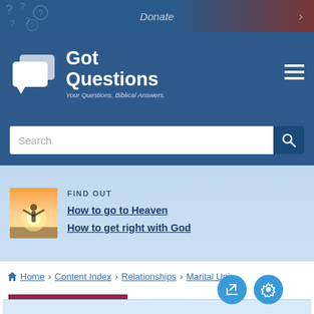Donate
[Figure (logo): GotQuestions logo with speech bubble icons, tagline: Your Questions. Biblical Answers.]
Search
[Figure (illustration): Thumbnail image of person with arms raised at sunrise/sunset]
FIND OUT
How to go to Heaven
How to get right with God
Home > Content Index > Relationships > Marital Uni
QUESTION